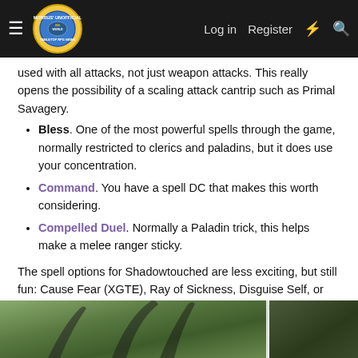Morrus' Unofficial Tabletop RPG News — Log in | Register
used with all attacks, not just weapon attacks. This really opens the possibility of a scaling attack cantrip such as Primal Savagery.
Bless. One of the most powerful spells through the game, normally restricted to clerics and paladins, but it does use your concentration.
Command. You have a spell DC that makes this worth considering.
Compelled Duel. Normally a Paladin trick, this helps make a melee ranger sticky.
The spell options for Shadowtouched are less exciting, but still fun: Cause Fear (XGTE), Ray of Sickness, Disguise Self, or Silent Image are all fine, but none makes this better than Feytouched.
[Figure (photo): Partial image of what appears to be curved dark objects or weapons on a green/nature background, cropped at the bottom of the page.]